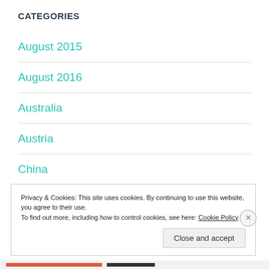CATEGORIES
August 2015
August 2016
Australia
Austria
China
Privacy & Cookies: This site uses cookies. By continuing to use this website, you agree to their use.
To find out more, including how to control cookies, see here: Cookie Policy
Close and accept